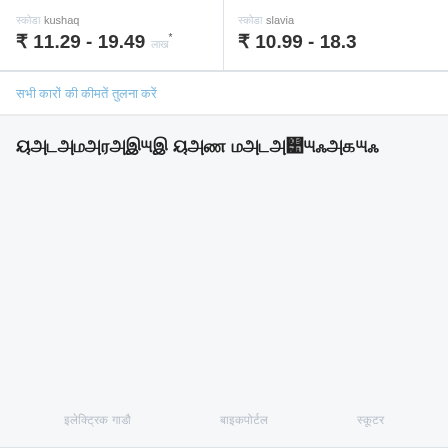स्कोडा kushaq ₹ 11.29 - 19.49 लाख*
स्कोडा slavia ₹ 10.99 - 18.39
सभी कारों की कीमतें तुलना करें
ऑटोमोबाइल और मोटरसाईकिल
इलेक्ट्रिक गाड़ी
बाइकपोर्टल
स्कूटर